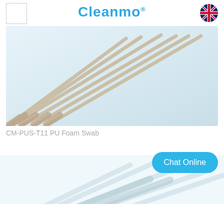[Figure (logo): Cleanmo brand logo with registered trademark symbol in blue text, and a small empty white square box on the left, and a UK flag icon on the right]
[Figure (photo): Close-up photo of multiple thin PU foam swabs with beige/cream colored tips arranged diagonally on a light blue-white background]
CM-PUS-T11 PU Foam Swab
[Figure (photo): Partial photo of swabs/sticks arranged diagonally on white background, lower portion of page]
Chat Online